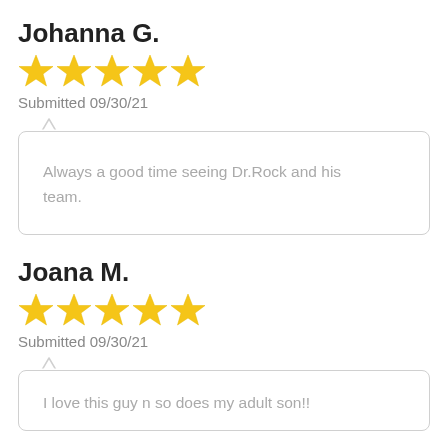Johanna G.
[Figure (other): 5 yellow stars rating]
Submitted 09/30/21
Always a good time seeing Dr.Rock and his team.
Joana M.
[Figure (other): 5 yellow stars rating]
Submitted 09/30/21
I love this guy n so does my adult son!!